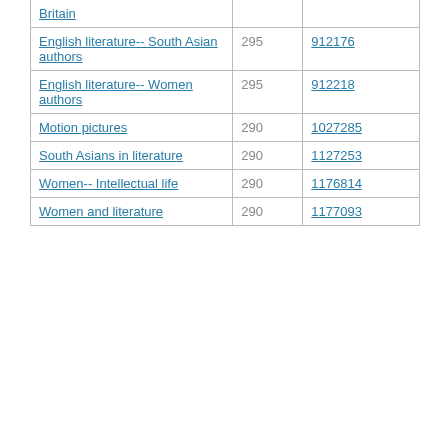| Subject | Count | ID |
| --- | --- | --- |
| Britain |  |  |
| English literature-- South Asian authors | 295 | 912176 |
| English literature-- Women authors | 295 | 912218 |
| Motion pictures | 290 | 1027285 |
| South Asians in literature | 290 | 1127253 |
| Women-- Intellectual life | 290 | 1176814 |
| Women and literature | 290 | 1177093 |